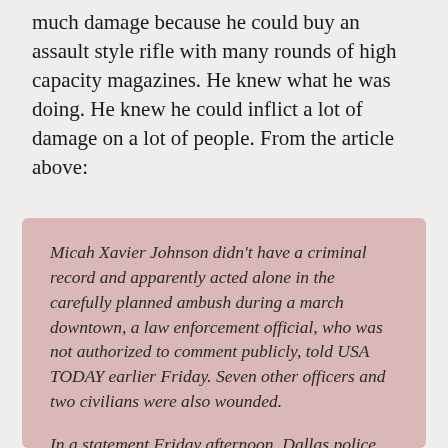much damage because he could buy an assault style rifle with many rounds of high capacity magazines. He knew what he was doing. He knew he could inflict a lot of damage on a lot of people. From the article above:
Micah Xavier Johnson didn't have a criminal record and apparently acted alone in the carefully planned ambush during a march downtown, a law enforcement official, who was not authorized to comment publicly, told USA TODAY earlier Friday. Seven other officers and two civilians were also wounded.

In a statement Friday afternoon, Dallas police confirmed the identity of the gunman and said he was described as a loner by some who knew him. Detectives were in the process of analyzing the information in the journal, the statement said. (...)

Johnson's Facebook account included the names Fahed Hassen and Richard GRIFFIN or Professor Griff, the